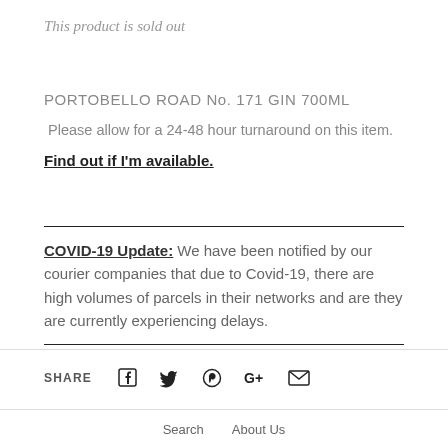This product is sold out
PORTOBELLO ROAD No. 171 GIN 700ML
Please allow for a 24-48 hour turnaround on this item.
Find out if I'm available.
COVID-19 Update: We have been notified by our courier companies that due to Covid-19, there are high volumes of parcels in their networks and are they are currently experiencing delays.
SHARE  [Facebook] [Twitter] [Pinterest] [Google+] [Email]
Search   About Us